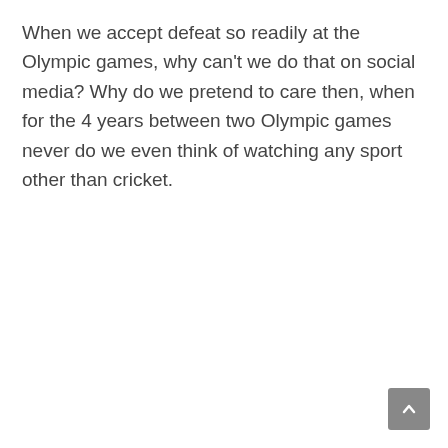When we accept defeat so readily at the Olympic games, why can't we do that on social media? Why do we pretend to care then, when for the 4 years between two Olympic games never do we even think of watching any sport other than cricket.